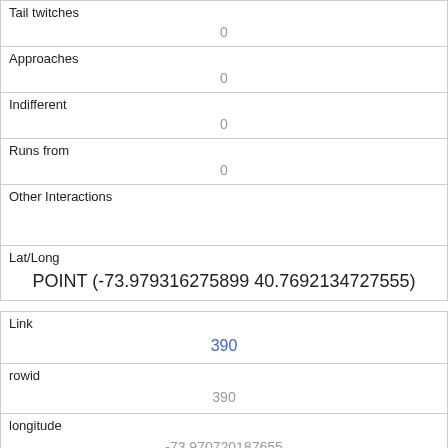| Tail twitches | 0 |
| Approaches | 0 |
| Indifferent | 0 |
| Runs from | 0 |
| Other Interactions |  |
| Lat/Long | POINT (-73.979316275899 40.7692134727555) |
| Link | 390 |
| rowid | 390 |
| longitude | -73.970720187655 |
| latitude |  |